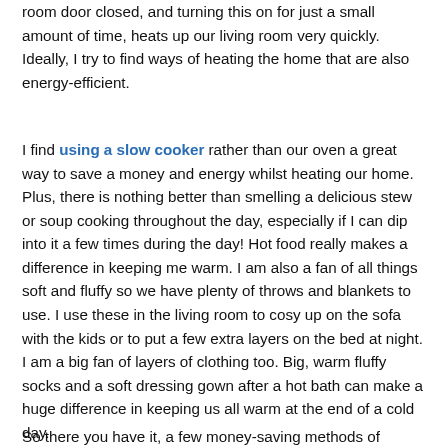room door closed, and turning this on for just a small amount of time, heats up our living room very quickly. Ideally, I try to find ways of heating the home that are also energy-efficient.
I find using a slow cooker rather than our oven a great way to save a money and energy whilst heating our home. Plus, there is nothing better than smelling a delicious stew or soup cooking throughout the day, especially if I can dip into it a few times during the day! Hot food really makes a difference in keeping me warm. I am also a fan of all things soft and fluffy so we have plenty of throws and blankets to use. I use these in the living room to cosy up on the sofa with the kids or to put a few extra layers on the bed at night. I am a big fan of layers of clothing too. Big, warm fluffy socks and a soft dressing gown after a hot bath can make a huge difference in keeping us all warm at the end of a cold day.
So there you have it, a few money-saving methods of